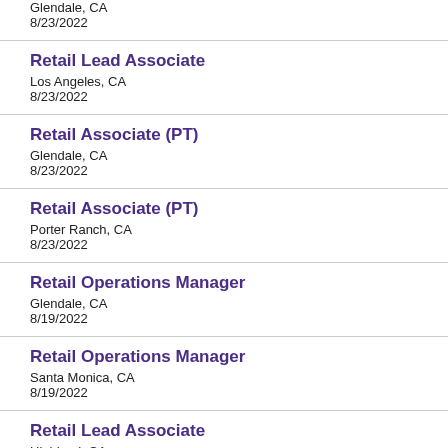Glendale, CA
8/23/2022
Retail Lead Associate
Los Angeles, CA
8/23/2022
Retail Associate (PT)
Glendale, CA
8/23/2022
Retail Associate (PT)
Porter Ranch, CA
8/23/2022
Retail Operations Manager
Glendale, CA
8/19/2022
Retail Operations Manager
Santa Monica, CA
8/19/2022
Retail Lead Associate
Highland, CA